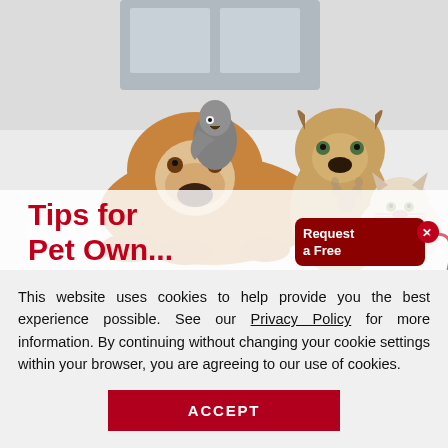[Figure (photo): Photo of pets including an English Bulldog lying down with a grey parrot on its back, a French Bulldog sitting, and a Himalayan cat, set on a white shiny floor with a room background. Text overlay reads 'Tips for Pet Own...' in red bold font. A dark red button overlay reads 'Request a Free' with an X close button.]
This website uses cookies to help provide you the best experience possible. See our Privacy Policy for more information. By continuing without changing your cookie settings within your browser, you are agreeing to our use of cookies.
ACCEPT